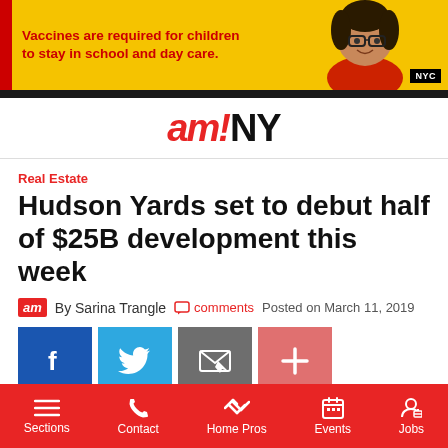[Figure (photo): NYC vaccination advertisement banner: yellow background with child wearing glasses, red bold text reading 'Vaccines are required for children to stay in school and day care.' with NYC logo badge.]
amNY
Real Estate
Hudson Yards set to debut half of $25B development this week
By Sarina Trangle   comments   Posted on March 11, 2019
[Figure (infographic): Social sharing buttons: Facebook (blue), Twitter (light blue), Email (gray), Plus/More (pinkish-red)]
Sections   Contact   Home Pros   Events   Jobs